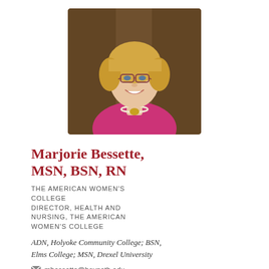[Figure (photo): Professional headshot of Marjorie Bessette, a woman with short blonde hair and glasses wearing a pink/magenta top and pearl necklace, smiling, seated in front of a wood-paneled background.]
Marjorie Bessette, MSN, BSN, RN
THE AMERICAN WOMEN'S COLLEGE
DIRECTOR, HEALTH AND NURSING, THE AMERICAN WOMEN'S COLLEGE
ADN, Holyoke Community College; BSN, Elms College; MSN, Drexel University
mbessette@baypath.edu